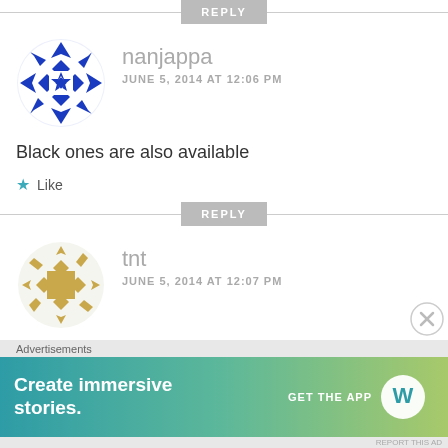[Figure (other): REPLY button with horizontal lines on each side at top of page]
[Figure (illustration): Blue geometric quilt-pattern avatar for user nanjappa]
nanjappa
JUNE 5, 2014 AT 12:06 PM
Black ones are also available
★ Like
[Figure (other): REPLY button with horizontal lines on each side]
[Figure (illustration): Gold/tan geometric quilt-pattern avatar for user tnt]
tnt
JUNE 5, 2014 AT 12:07 PM
Advertisements
[Figure (screenshot): WordPress advertisement banner: Create immersive stories. GET THE APP with WordPress logo]
REPORT THIS AD